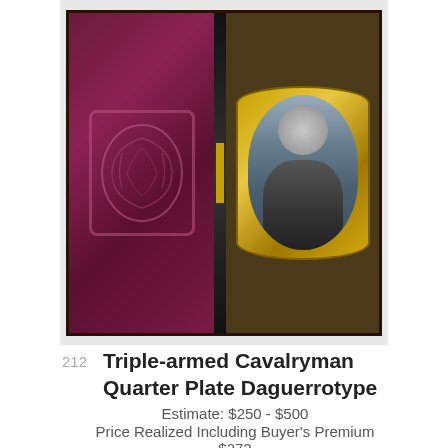[Figure (photo): An open daguerreotype case showing a decorative crimson velvet left panel with embossed floral design, a black spine with gold accent, and on the right a quarter plate daguerreotype portrait of a cavalryman holding weapons, set in an ornate oval gilt frame.]
212  Triple-armed Cavalryman Quarter Plate Daguerrotype
Estimate: $250 - $500
Price Realized Including Buyer's Premium $272